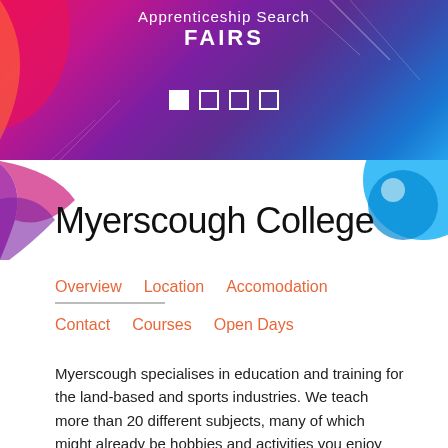Apprenticeship Search FAIRS
Myerscough College
Overview   Location   Accomodation   Contact   Courses   Open Days
Myerscough specialises in education and training for the land-based and sports industries. We teach more than 20 different subjects, many of which might already be hobbies and activities you enjoy doing in your spare time! For example, you can